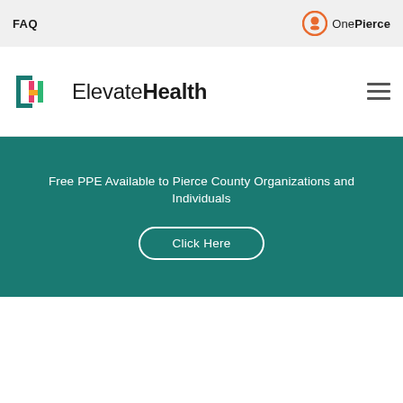FAQ
[Figure (logo): OnePierce logo with orange circle and pin icon]
[Figure (logo): ElevateHealth logo with colorful H icon and bold text]
[Figure (other): Hamburger menu icon (three horizontal lines)]
Free PPE Available to Pierce County Organizations and Individuals
Click Here